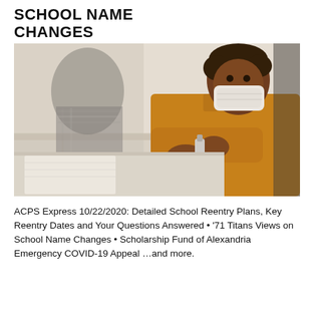SCHOOL NAME CHANGES
[Figure (photo): A young boy wearing a yellow long-sleeve shirt and a white face mask sanitizes his hands at a school desk. Another student in a plaid shirt is visible blurred in the background.]
ACPS Express 10/22/2020: Detailed School Reentry Plans, Key Reentry Dates and Your Questions Answered • '71 Titans Views on School Name Changes • Scholarship Fund of Alexandria Emergency COVID-19 Appeal …and more.